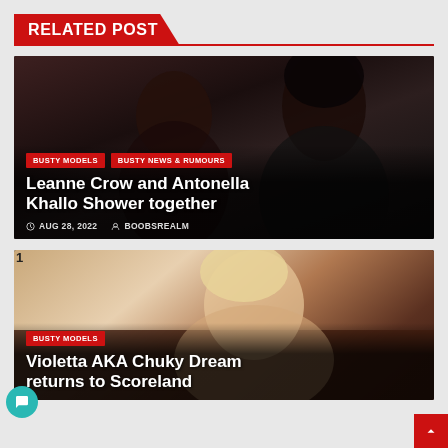RELATED POST
[Figure (photo): Dark photo of two women in a shower scene]
BUSTY MODELS   BUSTY NEWS & RUMOURS
Leanne Crow and Antonella Khallo Shower together
AUG 28, 2022   BOOBSREALM
[Figure (photo): Blonde woman on a brown couch in bright indoor setting]
BUSTY MODELS
Violetta AKA Chuky Dream returns to Scoreland